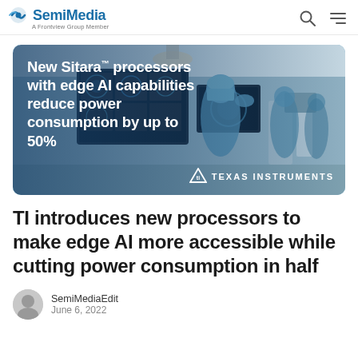SemiMedia — A Frontview Group Member
[Figure (photo): Texas Instruments banner advertisement showing medical professionals in surgical attire working with medical imaging screens in an operating room. Text overlay reads: 'New Sitara™ processors with edge AI capabilities reduce power consumption by up to 50%'. Texas Instruments logo in bottom right.]
TI introduces new processors to make edge AI more accessible while cutting power consumption in half
SemiMediaEdit
June 6, 2022